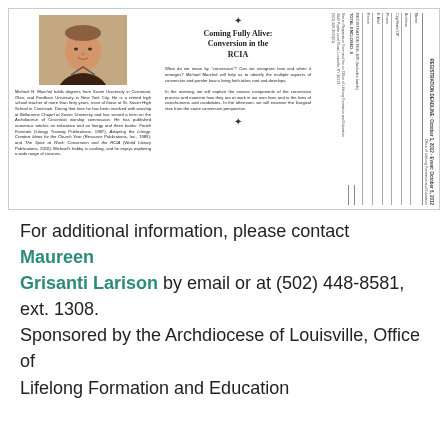[Figure (photo): Headshot photo of Michael H. Marchal, a middle-aged man in a dark shirt]
Michael H. Marchal holds degrees from Xavier University in Cincinnati, Ohio, and Fordham University in New York City. He is a retired high school teacher of more than forty years, most of those at St. Xavier High School in Cincinnati. During that time he has been involved with worship at Bellarmine Chapel at Xavier University and has served a term on the Archdiocese of Cincinnati worship commission. He has published numerous articles on education and on liturgy and three books: Parish Funerals (Liturgy Training Publications, 1987), Adapting the Liturgy: Creative Ideas for the Church Year (Resource Publications, Inc., 1989), and The Spirit at Work: Conversion and the RCIA (World Library Publications, 2010). Michael's hobby is cooking, and he enjoys exploring a wide range of cuisines.
Coming Fully Alive: Conversion in the RCIA
What do we mean by 'conversion'? Can we recognize how and when it emerges? Michael Marchal will help us to identify the multiple aspects of conversion and ponder how a living faith takes root and develops.

In the morning, we will explore the various components of the conversion process and examine how they are at work in our own lives and in the lives of catechumens and candidates. In the afternoon, we will examine the liturgical rites from the same conversion perspective.
For additional information, please contact Maureen Grisanti Larison by email or at (502) 448-8581, ext. 1308. Sponsored by the Archdiocese of Louisville, Office of Lifelong Formation and Education